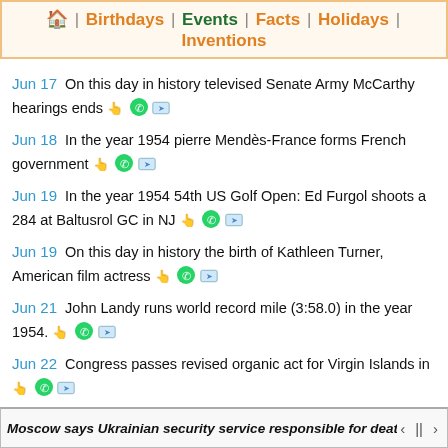🏠 | Birthdays | Events | Facts | Holidays | Inventions
Jun 17   On this day in history televised Senate Army McCarthy hearings ends
Jun 18   In the year 1954 pierre Mendès-France forms French government
Jun 19   In the year 1954 54th US Golf Open: Ed Furgol shoots a 284 at Baltusrol GC in NJ
Jun 19   On this day in history the birth of Kathleen Turner, American film actress
Jun 21   John Landy runs world record mile (3:58.0) in the year 1954.
Jun 22   Congress passes revised organic act for Virgin Islands in
Moscow says Ukrainian security service responsible for death